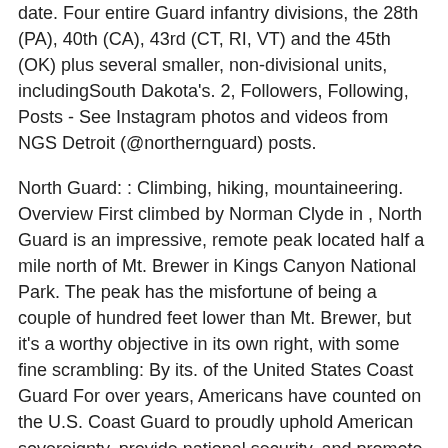date. Four entire Guard infantry divisions, the 28th (PA), 40th (CA), 43rd (CT, RI, VT) and the 45th (OK) plus several smaller, non-divisional units, includingSouth Dakota's. 2, Followers, Following, Posts - See Instagram photos and videos from NGS Detroit (@northernguard) posts.
North Guard: : Climbing, hiking, mountaineering. Overview First climbed by Norman Clyde in , North Guard is an impressive, remote peak located half a mile north of Mt. Brewer in Kings Canyon National Park. The peak has the misfortune of being a couple of hundred feet lower than Mt. Brewer, but it's a worthy objective in its own right, with some fine scrambling: By its. of the United States Coast Guard For over years, Americans have counted on the U.S. Coast Guard to proudly uphold American sovereignty, provide national security, and promote economic prosperity in the Arctic. Our important work is even more relevant as the northern approach to North America gains geo-strategic prominence. Buque